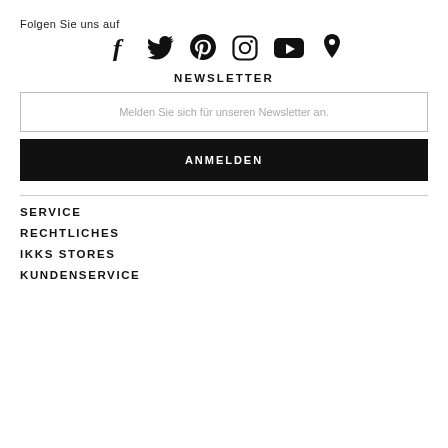Folgen Sie uns auf
[Figure (infographic): Social media icons: Facebook, Twitter, Pinterest, Instagram, YouTube, Location pin]
NEWSLETTER
Melden Sie sich für unseren Newsletter an.
ANMELDEN
SERVICE
RECHTLICHES
IKKS STORES
KUNDENSERVICE